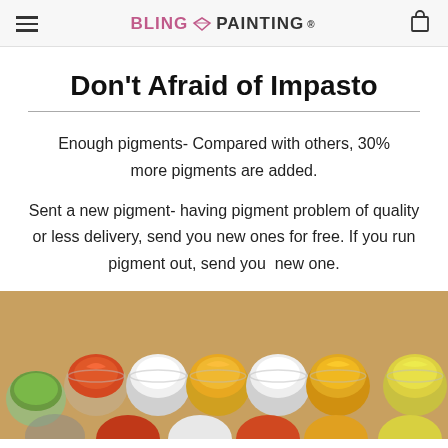BLING PAINTING®
Don't Afraid of Impasto
Enough pigments- Compared with others, 30% more pigments are added.
Sent a new pigment- having pigment problem of quality or less delivery, send you new ones for free. If you run pigment out, send you new one.
[Figure (photo): Rows of small open paint containers filled with colorful paints including orange, white, yellow-orange, yellow, and green impasto-style paints.]